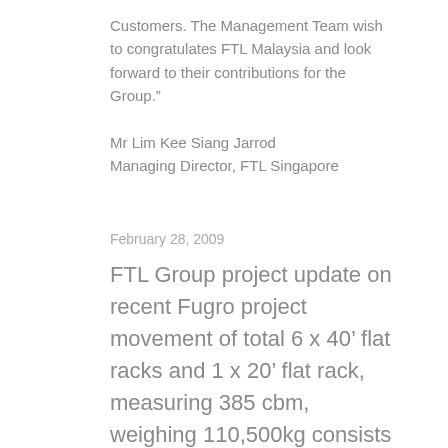Customers. The Management Team wish to congratulates FTL Malaysia and look forward to their contributions for the Group.”
Mr Lim Kee Siang Jarrod
Managing Director, FTL Singapore
February 28, 2009
FTL Group project update on recent Fugro project movement of total 6 x 40’ flat racks and 1 x 20’ flat rack, measuring 385 cbm, weighing 110,500kg consists of subsea equipments, control Van, A-frame, Oil Drum basket, etc into Zhangjiang, Guangdong, China. The vessel was